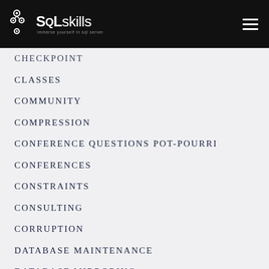[Figure (logo): SQLskills logo with white text on black background and hamburger menu icon]
CHECKPOINT
CLASSES
COMMUNITY
COMPRESSION
CONFERENCE QUESTIONS POT-POURRI
CONFERENCES
CONSTRAINTS
CONSULTING
CORRUPTION
DATABASE MAINTENANCE
DATABASE MIRRORING
DATABASE SNAPSHOTS
DBCC